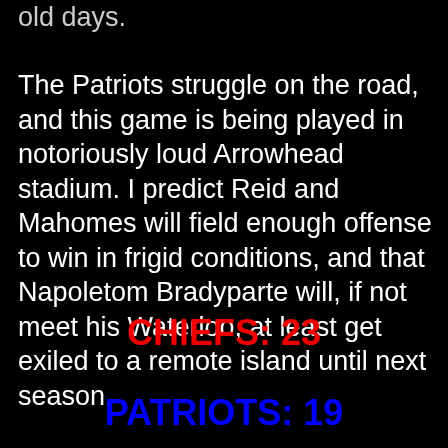old days.
The Patriots struggle on the road, and this game is being played in notoriously loud Arrowhead stadium. I predict Reid and Mahomes will field enough offense to win in frigid conditions, and that Napoletom Bradyparte will, if not meet his Waterloo, at least get exiled to a remote island until next season.
CHIEFS: 23
PATRIOTS: 19